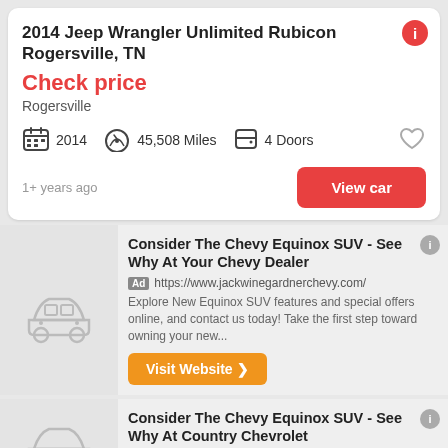2014 Jeep Wrangler Unlimited Rubicon Rogersville, TN
Check price
Rogersville
2014   45,508 Miles   4 Doors
1+ years ago
View car
Consider The Chevy Equinox SUV - See Why At Your Chevy Dealer
Ad https://www.jackwinegardnerchevy.com/
Explore New Equinox SUV features and special offers online, and contact us today! Take the first step toward owning your new...
Visit Website ❯
Consider The Chevy Equinox SUV - See Why At Country Chevrolet
Ad https://www.countrychevrolet.com/
Explore New Equinox SUV features and